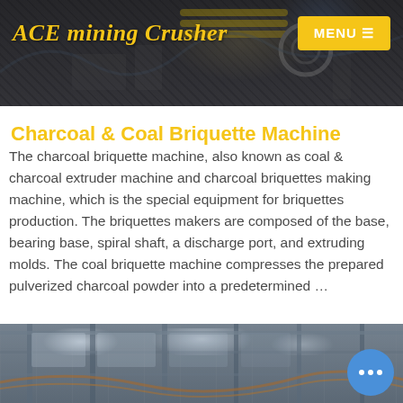ACE mining Crusher
Charcoal & Coal Briquette Machine
The charcoal briquette machine, also known as coal & charcoal extruder machine and charcoal briquettes making machine, which is the special equipment for briquettes production. The briquettes makers are composed of the base, bearing base, spiral shaft, a discharge port, and extruding molds. The coal briquette machine compresses the prepared pulverized charcoal powder into a predetermined …
Contact us
[Figure (photo): Industrial factory interior with structural steel beams and columns, and orange utility lines visible; chat button overlay in lower right corner]